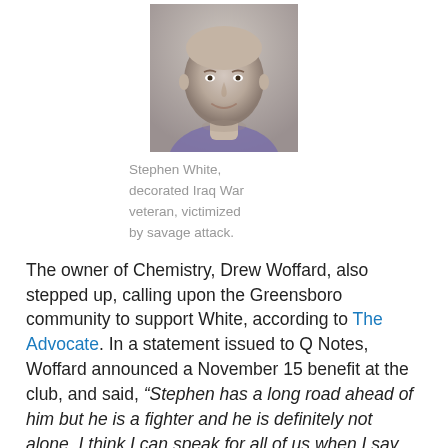[Figure (photo): Portrait photo of Stephen White, a middle-aged bald man, smiling slightly, wearing a purple shirt.]
Stephen White, decorated Iraq War veteran, victimized by savage attack.
The owner of Chemistry, Drew Woffard, also stepped up, calling upon the Greensboro community to support White, according to The Advocate. In a statement issued to Q Notes, Woffard announced a November 15 benefit at the club, and said, “Stephen has a long road ahead of him but he is a fighter and he is definitely not alone. I think I can speak for all of us when I say that we are all fighting for him. Also I remind you to please use caution when leaving